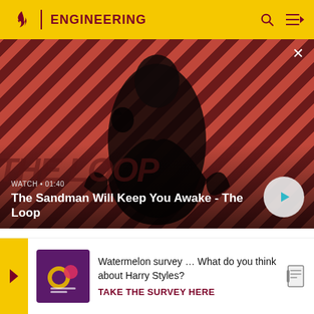ENGINEERING
[Figure (screenshot): Video thumbnail showing a dark figure in a black coat with a bird on shoulder, against a red diagonal striped background. Title reads: The Sandman Will Keep You Awake - The Loop. Watch time: 01:40]
WATCH • 01:40
The Sandman Will Keep You Awake - The Loop
The efficiency depends on... This e...ary
[Figure (screenshot): Ad banner: Watermelon survey ... What do you think about Harry Styles? TAKE THE SURVEY HERE. Shows a colorful survey app icon.]